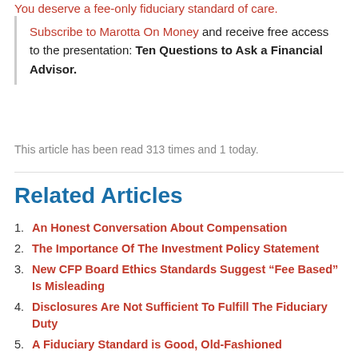You deserve a fee-only fiduciary standard of care.
Subscribe to Marotta On Money and receive free access to the presentation: Ten Questions to Ask a Financial Advisor.
This article has been read 313 times and 1 today.
Related Articles
An Honest Conversation About Compensation
The Importance Of The Investment Policy Statement
New CFP Board Ethics Standards Suggest “Fee Based” Is Misleading
Disclosures Are Not Sufficient To Fulfill The Fiduciary Duty
A Fiduciary Standard is Good, Old-Fashioned